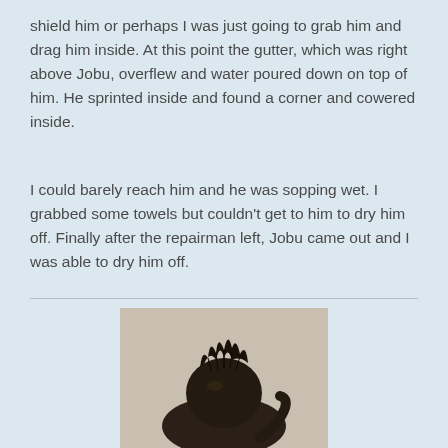shield him or perhaps I was just going to grab him and drag him inside. At this point the gutter, which was right above Jobu, overflew and water poured down on top of him. He sprinted inside and found a corner and cowered inside.
I could barely reach him and he was sopping wet. I grabbed some towels but couldn't get to him to dry him off. Finally after the repairman left, Jobu came out and I was able to dry him off.
[Figure (photo): A wet dark-furred cat (Jobu) sitting with disheveled spiky fur on top of its head, viewed from above/behind on a beige surface.]